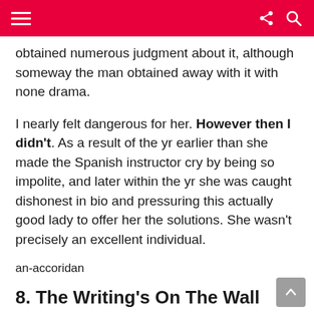obtained numerous judgment about it, although someway the man obtained away with it with none drama.
I nearly felt dangerous for her. However then I didn't. As a result of the yr earlier than she made the Spanish instructor cry by being so impolite, and later within the yr she was caught dishonest in bio and pressuring this actually good lady to offer her the solutions. She wasn't precisely an excellent individual.
an-accoridan
8. The Writing's On The Wall